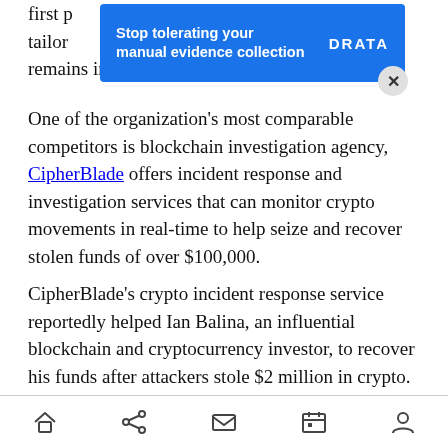first p[artially visible]...vice tailor[ed]...hole remains in its infancy.
[Figure (screenshot): Blue advertisement banner reading 'Stop tolerating your manual evidence collection' with DRATA logo on the right, with a close (X) button]
One of the organization's most comparable competitors is blockchain investigation agency, CipherBlade offers incident response and investigation services that can monitor crypto movements in real-time to help seize and recover stolen funds of over $100,000.
CipherBlade's crypto incident response service reportedly helped Ian Balina, an influential blockchain and cryptocurrency investor, to recover his funds after attackers stole $2 million in crypto. The organization also works with crypto
Navigation bar with home, share, mail, calendar, and profile icons